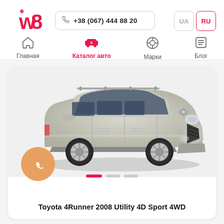[Figure (logo): w8 logo in red/pink color]
+38 (067) 444 88 20
UA  RU
Главная
Каталог авто
Марки
Блог
[Figure (photo): Toyota 4Runner 2008 silver SUV side/front view on white background]
Toyota 4Runner 2008 Utility 4D Sport 4WD